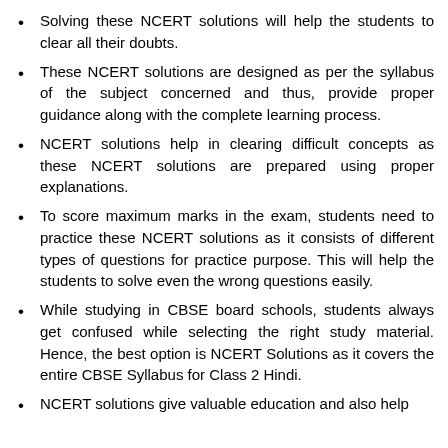Solving these NCERT solutions will help the students to clear all their doubts.
These NCERT solutions are designed as per the syllabus of the subject concerned and thus, provide proper guidance along with the complete learning process.
NCERT solutions help in clearing difficult concepts as these NCERT solutions are prepared using proper explanations.
To score maximum marks in the exam, students need to practice these NCERT solutions as it consists of different types of questions for practice purpose. This will help the students to solve even the wrong questions easily.
While studying in CBSE board schools, students always get confused while selecting the right study material. Hence, the best option is NCERT Solutions as it covers the entire CBSE Syllabus for Class 2 Hindi.
NCERT solutions give valuable education and also help